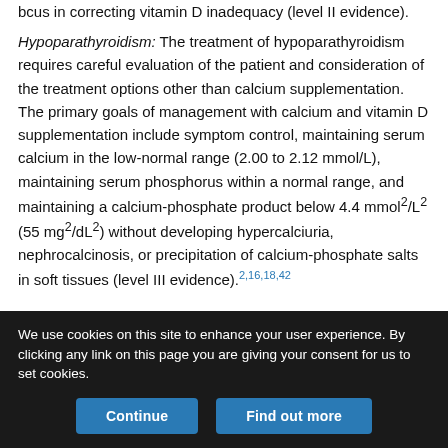bcus in correcting vitamin D inadequacy (level II evidence).
Hypoparathyroidism: The treatment of hypoparathyroidism requires careful evaluation of the patient and consideration of the treatment options other than calcium supplementation. The primary goals of management with calcium and vitamin D supplementation include symptom control, maintaining serum calcium in the low-normal range (2.00 to 2.12 mmol/L), maintaining serum phosphorus within a normal range, and maintaining a calcium-phosphate product below 4.4 mmol2/L2 (55 mg2/dL2) without developing hypercalciuria, nephrocalcinosis, or precipitation of calcium-phosphate salts in soft tissues (level III evidence).2,16,18,42
Vitamin D analogues, particularly calcitriol or alfacalcidol, can be
We use cookies on this site to enhance your user experience. By clicking any link on this page you are giving your consent for us to set cookies.